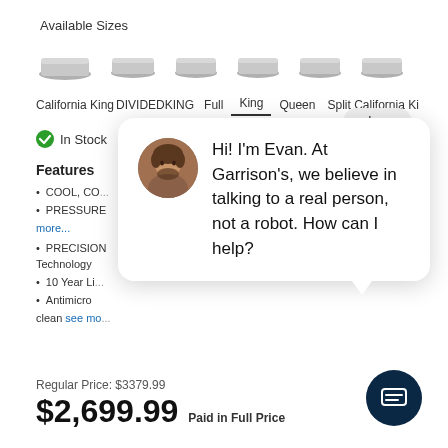Available Sizes
[Figure (illustration): Row of six mattress thumbnail images showing available sizes]
California King DIVIDEDKING Full King Queen Split California Ki...
In Stock
Features
COOL, CO...
PRESSURE...
more...
PRECISION...
Technology
10 Year Li...
Antimicro...
clean see mo...
[Figure (screenshot): Chat popup with avatar of Evan and message: Hi! I'm Evan. At Garrison's, we believe in talking to a real person, not a robot. How can I help?]
close
Regular Price: $3379.99
$2,699.99 Paid in Full Price
[Figure (illustration): Dark navy chat FAB button with message icon]